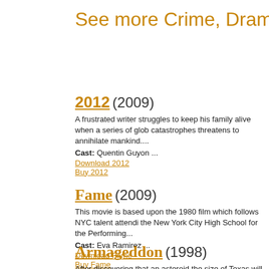See more Crime, Drama mo
2012 (2009)
A frustrated writer struggles to keep his family alive when a series of glob catastrophes threatens to annihilate mankind....
Cast: Quentin Guyon ...
Download 2012
Buy 2012
Fame (2009)
This movie is based upon the 1980 film which follows NYC talent attendi the New York City High School for the Performing...
Cast: Eva Ramirez ...
Download Fame
Buy Fame
Armageddon (1998)
After discovering that an asteroid the size of Texas will impact Earth in les than a month, NASA recruits a misfit team of...